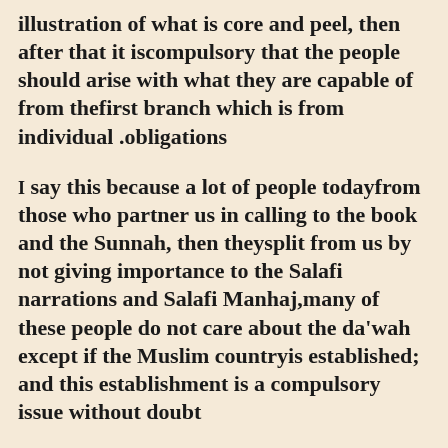illustration of what is core and peel, then after that it iscompulsory that the people should arise with what they are capable of from thefirst branch which is from individual obligations.
I say this because a lot of people todayfrom those who partner us in calling to the book and the Sunnah, then theysplit from us by not giving importance to the Salafi narrations and Salafi Manhaj,many of these people do not care about the da'wah except if the Muslim countryis established; and this establishment is a compulsory issue without doubt